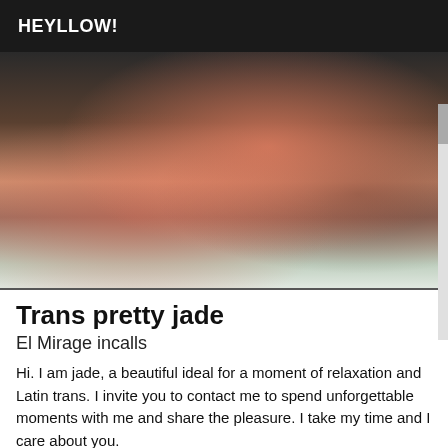HEYLLOW!
[Figure (photo): A woman posing on a bed wearing a pink/coral bikini top, with dark hair, lying on a patterned bed cover. The image is taken in a bedroom setting.]
Trans pretty jade
El Mirage incalls
Hi. I am jade, a beautiful ideal for a moment of relaxation and Latin trans. I invite you to contact me to spend unforgettable moments with me and share the pleasure. I take my time and I care about you.